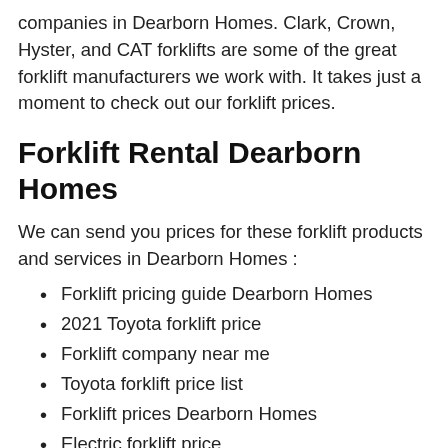companies in Dearborn Homes. Clark, Crown, Hyster, and CAT forklifts are some of the great forklift manufacturers we work with. It takes just a moment to check out our forklift prices.
Forklift Rental Dearborn Homes
We can send you prices for these forklift products and services in Dearborn Homes :
Forklift pricing guide Dearborn Homes
2021 Toyota forklift price
Forklift company near me
Toyota forklift price list
Forklift prices Dearborn Homes
Electric forklift price
Forklift price used
Best forklift to buy Dearborn Homes